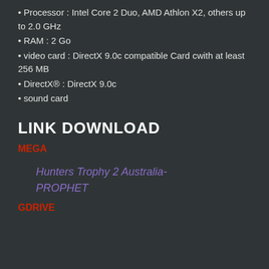Processor : Intel Core 2 Duo, AMD Athlon X2, others up to 2.0 GHz
RAM : 2 Go
video card : DirectX 9.0c compatible Card cwith at least 256 MB
DirectX® : DirectX 9.0c
sound card
LINK DOWNLOAD
MEGA
Hunters Trophy 2 Australia-PROPHET
GDRIVE